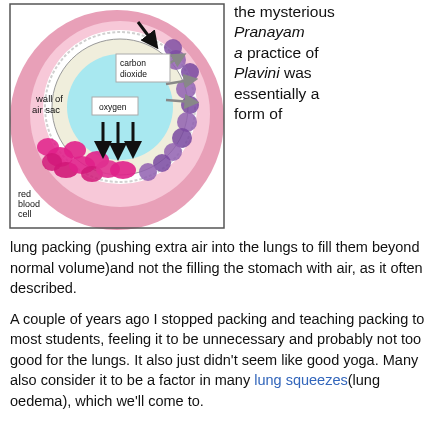[Figure (illustration): Diagram of a lung air sac (alveolus) showing gas exchange. Pink circular background with a cross-section of an alveolus in cyan/light blue. Labels indicate: 'wall of air sac', 'carbon dioxide' (in a box with grey arrows pointing outward), 'oxygen' (in a box with black arrows pointing inward/downward), and 'red blood cell'. Red blood cells (pink/magenta blobs) and purple cells line the alveolus wall. Black arrows show direction of gas movement.]
the mysterious Pranayama practice of Plavini was essentially a form of lung packing (pushing extra air into the lungs to fill them beyond normal volume)and not the filling the stomach with air, as it often described.
A couple of years ago I stopped packing and teaching packing to most students, feeling it to be unnecessary and probably not too good for the lungs. It also just didn't seem like good yoga. Many also consider it to be a factor in many lung squeezes(lung oedema), which we'll come to.